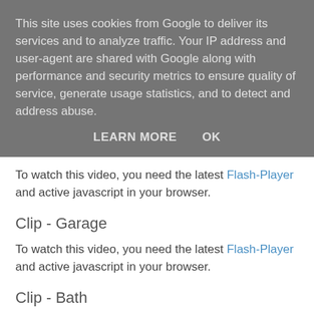This site uses cookies from Google to deliver its services and to analyze traffic. Your IP address and user-agent are shared with Google along with performance and security metrics to ensure quality of service, generate usage statistics, and to detect and address abuse.
LEARN MORE   OK
To watch this video, you need the latest Flash-Player and active javascript in your browser.
Clip - Garage
To watch this video, you need the latest Flash-Player and active javascript in your browser.
Clip - Bath
To watch this video, you need the latest Flash-Player and active javascript in your browser.